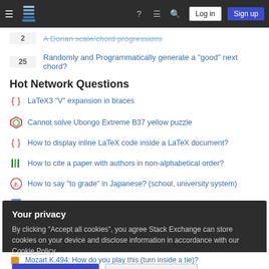Stack Exchange navigation bar with hamburger menu, logo, help, chat, search icons, Log in and Sign up buttons
2 — A Dorian scale/chord progressions
25 — Randomly and Programmatically generate a "good" next chord?
Hot Network Questions
LaTeX3 "V" expansion in braces
Cannot solve Ubongo Extreme B37 yellow puzzle
How to display inline LaTeX code inside a LaTeX document?
How to cite a paper with authors in non-alphabetical order?
How to say "to grade" in Japanese? (school, university system)
Is it ethical to legalize psychedelic drug therapy for the terminally ill?
Your privacy
By clicking "Accept all cookies", you agree Stack Exchange can store cookies on your device and disclose information in accordance with our Cookie Policy.
Mozart K.494: How do you play this (turn inside a tie)?